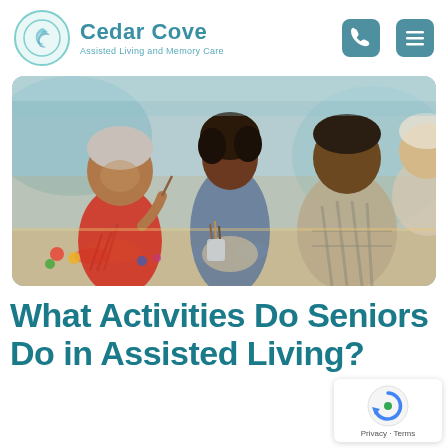[Figure (logo): Cedar Cove Assisted Living and Memory Care logo with teal circle and swoosh icon]
[Figure (photo): Group of seniors and a caregiver smiling and painting together at a table with art supplies]
What Activities Do Seniors Do in Assisted Living?